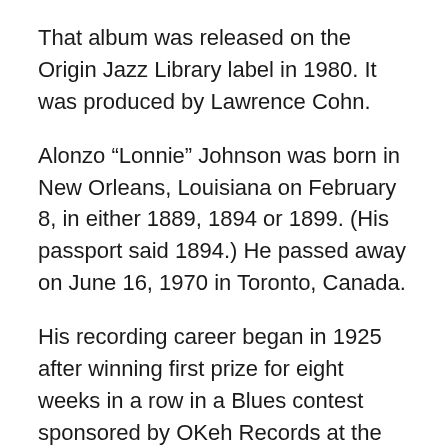That album was released on the Origin Jazz Library label in 1980. It was produced by Lawrence Cohn.
Alonzo “Lonnie” Johnson was born in New Orleans, Louisiana on February 8, in either 1889, 1894 or 1899. (His passport said 1894.) He passed away on June 16, 1970 in Toronto, Canada.
His recording career began in 1925 after winning first prize for eight weeks in a row in a Blues contest sponsored by OKeh Records at the Booker T. Washington Theatre in St. Louis, Missouri.
Music journalist Pete Welding proclaims Lonnie Johnson to be “…one of the greatest, most accomplished, and most widely influential of all Blues performers.”
Fellow Blues musician Johnny Shines claimed that his